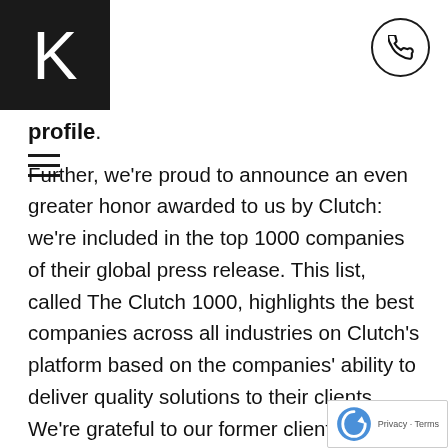K ≡ [phone icon]
profile.
Further, we're proud to announce an even greater honor awarded to us by Clutch: we're included in the top 1000 companies of their global press release. This list, called The Clutch 1000, highlights the best companies across all industries on Clutch's platform based on the companies' ability to deliver quality solutions to their clients. We're grateful to our former clients for providing such raving reviews; our achievement of award would not have been possible wit their support.